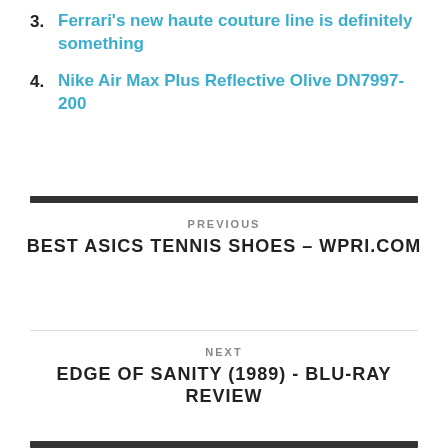3. Ferrari's new haute couture line is definitely something
4. Nike Air Max Plus Reflective Olive DN7997-200
PREVIOUS
BEST ASICS TENNIS SHOES – WPRI.COM
NEXT
EDGE OF SANITY (1989) - BLU-RAY REVIEW